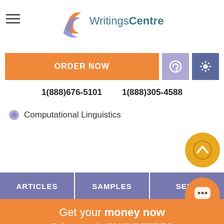[Figure (logo): WritingsCentre logo with stylized orange and purple wave icon and teal text]
[Figure (screenshot): ORDER NOW orange button, purple support/settings icon buttons]
1(888)676-5101   1(888)305-4588
Computational Linguistics
[Figure (other): Scroll to top gold circle button with upward chevron]
ARTICLES   SAMPLES   SERV...
[Figure (other): Orange chat bubble button]
Get your money now
Refer our service TO YOUR FRIENDS
and receive 10% from every order
Invite your friends